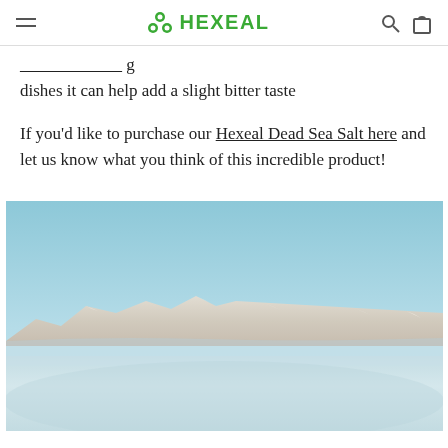HEXEAL
dishes it can help add a slight bitter taste
If you'd like to purchase our Hexeal Dead Sea Salt here and let us know what you think of this incredible product!
[Figure (photo): Aerial photograph of the Dead Sea region showing mountains, shoreline and hazy sky]